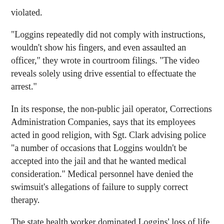violated.
“Loggins repeatedly did not comply with instructions, wouldn’t show his fingers, and even assaulted an officer,” they wrote in courtroom filings. “The video reveals solely using drive essential to effectuate the arrest.”
In its response, the non-public jail operator, Corrections Administration Companies, says that its employees acted in good religion, with Sgt. Clark advising police “a number of occasions that Loggins wouldn’t be accepted into the jail and that he wanted medical consideration.” Medical personnel have denied the swimsuit’s allegations of failure to supply correct therapy.
The state health worker dominated Loggins’ loss of life an accident, identical to his mom’s.
The alleged wrongdoer? Methamphetamine toxicity.
The chief health worker who performed the post-mortem, Dr. Mark LeVaughn, was placed on